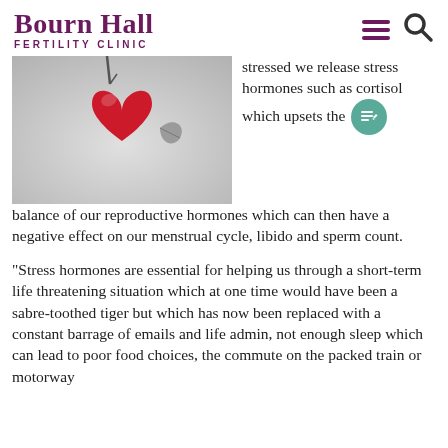Bourn Hall FERTILITY CLINIC
[Figure (photo): Close-up photo of a red heart-shaped fruit on a branch against a grey-toned background with a leaf visible]
stressed we release stress hormones such as cortisol which upsets the balance of our reproductive hormones which can then have a negative effect on our menstrual cycle, libido and sperm count.
“Stress hormones are essential for helping us through a short-term life threatening situation which at one time would have been a sabre-toothed tiger but which has now been replaced with a constant barrage of emails and life admin, not enough sleep which can lead to poor food choices, the commute on the packed train or motorway